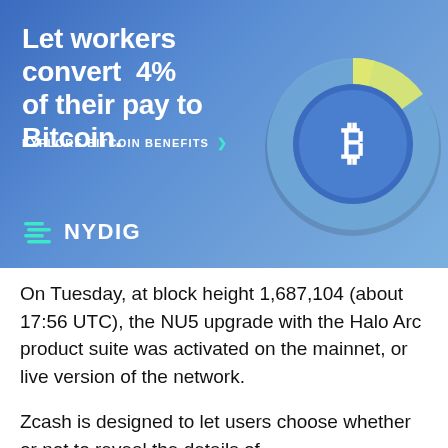[Figure (infographic): NYDIG advertisement banner with blue gradient background, showing a donut chart with a Bitcoin symbol in the center (mostly blue with a yellow segment representing 4%), headline text 'Let workers convert 4% of their pay to Bitcoin.' with 'EXPLORE BITCOIN BENEFITS' CTA link, and NYDIG logo at the bottom left.]
On Tuesday, at block height 1,687,104 (about 17:56 UTC), the NU5 upgrade with the Halo Arc product suite was activated on the mainnet, or live version of the network.
Zcash is designed to let users choose whether or not to reveal the details of